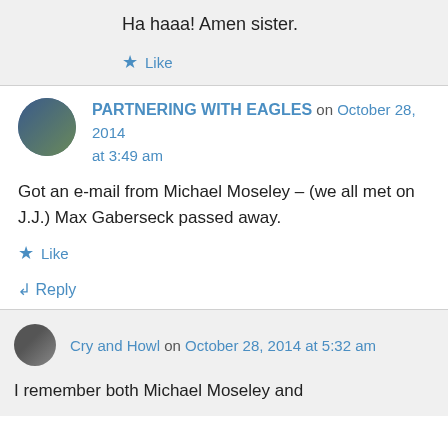Ha haaa! Amen sister.
Like
PARTNERING WITH EAGLES on October 28, 2014 at 3:49 am
Got an e-mail from Michael Moseley – (we all met on J.J.) Max Gaberseck passed away.
Like
Reply
Cry and Howl on October 28, 2014 at 5:32 am
I remember both Michael Moseley and